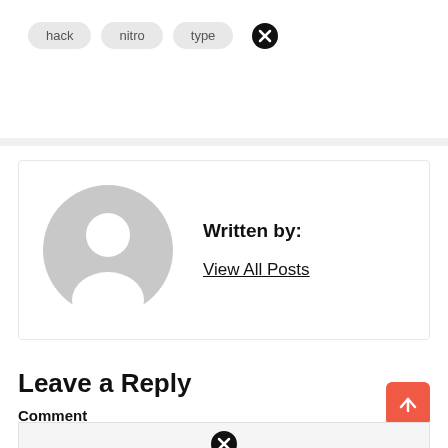hack  nitro  type
[Figure (illustration): Generic user avatar placeholder - gray silhouette of a person inside a circle]
Written by:
View All Posts
Leave a Reply
Comment